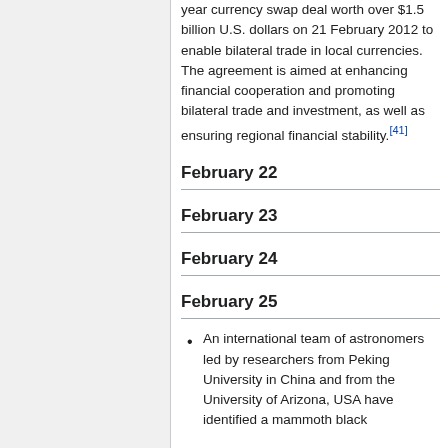year currency swap deal worth over $1.5 billion U.S. dollars on 21 February 2012 to enable bilateral trade in local currencies. The agreement is aimed at enhancing financial cooperation and promoting bilateral trade and investment, as well as ensuring regional financial stability.[41]
February 22
February 23
February 24
February 25
An international team of astronomers led by researchers from Peking University in China and from the University of Arizona, USA have identified a mammoth black